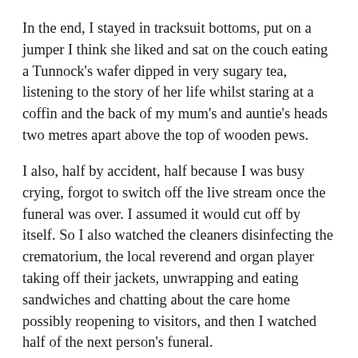In the end, I stayed in tracksuit bottoms, put on a jumper I think she liked and sat on the couch eating a Tunnock's wafer dipped in very sugary tea, listening to the story of her life whilst staring at a coffin and the back of my mum's and auntie's heads two metres apart above the top of wooden pews.
I also, half by accident, half because I was busy crying, forgot to switch off the live stream once the funeral was over. I assumed it would cut off by itself. So I also watched the cleaners disinfecting the crematorium, the local reverend and organ player taking off their jackets, unwrapping and eating sandwiches and chatting about the care home possibly reopening to visitors, and then I watched half of the next person's funeral.
The speeches about my grandma were beautiful. Some of the lines from the reverend, such as, We would normally sing now,